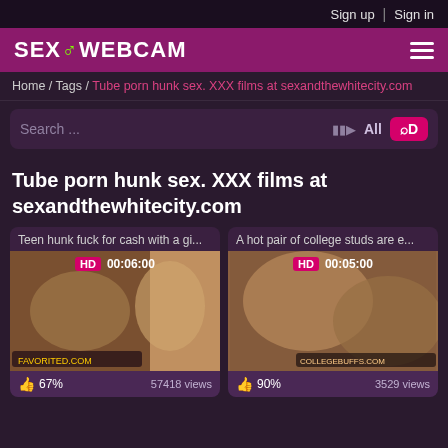Sign up | Sign in
SEXOWEBCAM
Home / Tags / Tube porn hunk sex. XXX films at sexandthewhitecity.com
Search ... All
Tube porn hunk sex. XXX films at sexandthewhitecity.com
Teen hunk fuck for cash with a gi...
[Figure (photo): Video thumbnail showing adult content, HD badge, duration 00:06:00, 67% likes, 57418 views]
A hot pair of college studs are e...
[Figure (photo): Video thumbnail showing adult content, HD badge, duration 00:05:00, 90% likes, 3529 views]